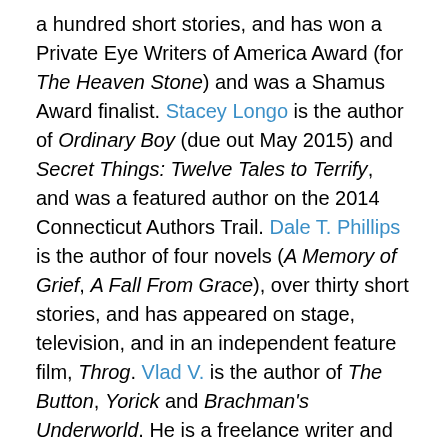a hundred short stories, and has won a Private Eye Writers of America Award (for The Heaven Stone) and was a Shamus Award finalist. Stacey Longo is the author of Ordinary Boy (due out May 2015) and Secret Things: Twelve Tales to Terrify, and was a featured author on the 2014 Connecticut Authors Trail. Dale T. Phillips is the author of four novels (A Memory of Grief, A Fall From Grace), over thirty short stories, and has appeared on stage, television, and in an independent feature film, Throg. Vlad V. is the author of The Button, Yorick and Brachman's Underworld. He is a freelance writer and former newspaper correspondent for the Lowell Sun and Fitchburg Sentinel & Enterprise. Ursula Wong is the author of Purple Trees, is a regional winner of the flash fiction contest sponsored by the New Hampshire Writer's Project, and leads the